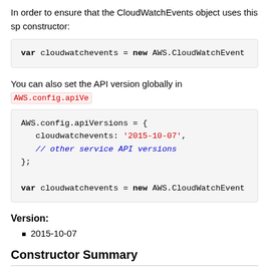In order to ensure that the CloudWatchEvents object uses this sp constructor:
var cloudwatchevents = new AWS.CloudWatchEvent
You can also set the API version globally in AWS.config.apiVe
AWS.config.apiVersions = {
  cloudwatchevents: '2015-10-07',
  // other service API versions
};

var cloudwatchevents = new AWS.CloudWatchEvent
Version:
2015-10-07
Constructor Summary